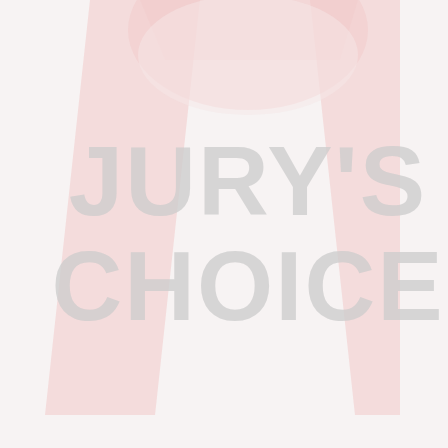[Figure (logo): KFC-style logo watermark with 'JURY'S CHOICE' text overlaid. The background shows a faint red/pink KFC bucket logo with two diagonal red stripes on the left and right sides, a circular bucket shape in the center-top area. Over this is large bold gray text reading JURY'S CHOICE in two lines.]